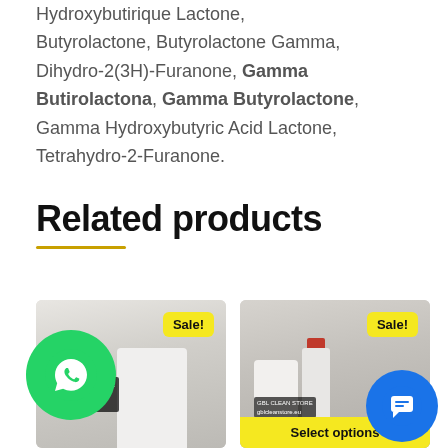Hydroxybutirique Lactone, Butyrolactone, Butyrolactone Gamma, Dihydro-2(3H)-Furanone, Gamma Butirolactona, Gamma Butyrolactone, Gamma Hydroxybutyric Acid Lactone, Tetrahydro-2-Furanone.
Related products
[Figure (photo): Product image showing a white container/bag with a Sale! badge in yellow, and a green WhatsApp circle icon overlaid on the left.]
[Figure (photo): Product image showing white bottles/jugs with a Sale! badge in yellow and a Select options yellow bar at bottom. Blue chat circle icon overlaid at bottom right.]